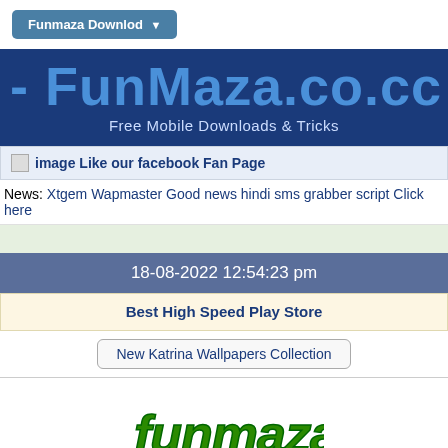Funmaza Downlod ▼
- FunMaza.co.cc
Free Mobile Downloads & Tricks
image Like our facebook Fan Page
News: Xtgem Wapmaster Good news hindi sms grabber script Click here
18-08-2022 12:54:23 pm
Best High Speed Play Store
New Katrina Wallpapers Collection
[Figure (logo): Funmaza logo in green bubbly font]
[Figure (screenshot): XtGem Forums banner with Discuss right now button]